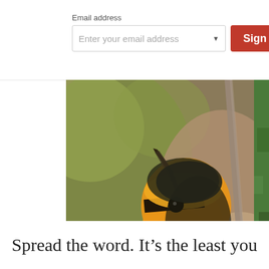Email address
[Figure (screenshot): Email address input field with placeholder text 'Enter your email address' and a dropdown arrow, alongside a red 'Sign Up' button]
[Figure (photo): Close-up photo of a yellow and black warbler bird looking upward, with a branch in the background and blurred green/brown bokeh background. A partial second image is visible on the right edge.]
Spread the word. It's the least you